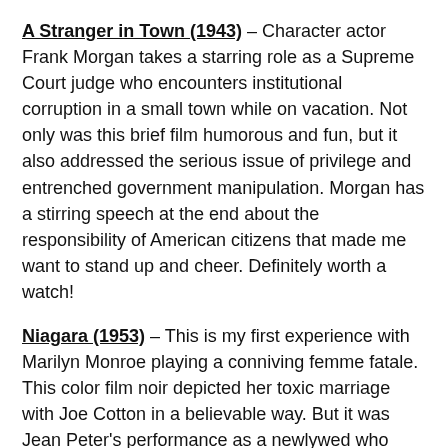A Stranger in Town (1943) – Character actor Frank Morgan takes a starring role as a Supreme Court judge who encounters institutional corruption in a small town while on vacation. Not only was this brief film humorous and fun, but it also addressed the serious issue of privilege and entrenched government manipulation. Morgan has a stirring speech at the end about the responsibility of American citizens that made me want to stand up and cheer. Definitely worth a watch!
Niagara (1953) – This is my first experience with Marilyn Monroe playing a conniving femme fatale. This color film noir depicted her toxic marriage with Joe Cotton in a believable way. But it was Jean Peter's performance as a newlywed who gets caught up in their twisted game who stole the show for me. The scenes all around Niagara Falls were so interesting and made me wish I had explored it more when I was there.